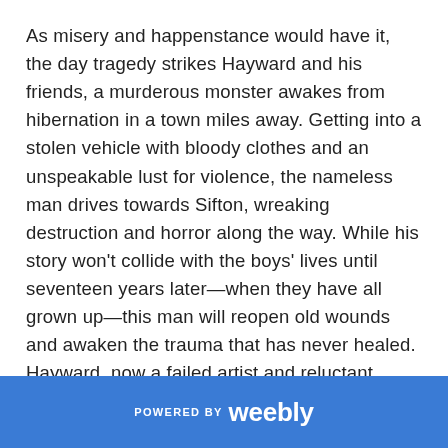As misery and happenstance would have it, the day tragedy strikes Hayward and his friends, a murderous monster awakes from hibernation in a town miles away. Getting into a stolen vehicle with bloody clothes and an unspeakable lust for violence, the nameless man drives towards Sifton, wreaking destruction and horror along the way. While his story won't collide with the boys' lives until seventeen years later—when they have all grown up—this man will reopen old wounds and awaken the trauma that has never healed. Hayward, now a failed artist and reluctant police officer, is left to pick up the pieces of a shattered community and solve the mystery of the event that has come to dominate his life.
POWERED BY weebly